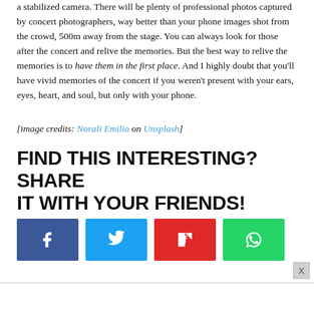a stabilized camera. There will be plenty of professional photos captured by concert photographers, way better than your phone images shot from the crowd, 500m away from the stage. You can always look for those after the concert and relive the memories. But the best way to relive the memories is to have them in the first place. And I highly doubt that you'll have vivid memories of the concert if you weren't present with your ears, eyes, heart, and soul, but only with your phone.
[image credits: Norali Emilio on Unsplash]
FIND THIS INTERESTING? SHARE IT WITH YOUR FRIENDS!
[Figure (other): Four social share buttons: Facebook (blue), Twitter (light blue), Flipboard (red), WhatsApp (green)]